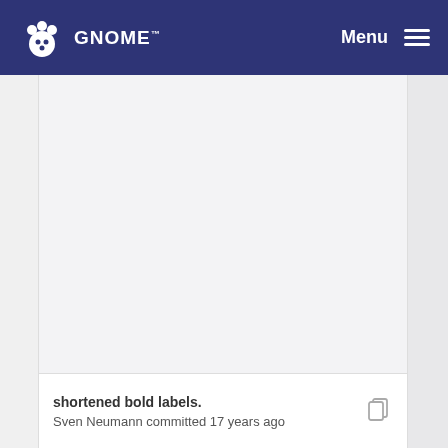GNOME  Menu
[Figure (screenshot): Large empty/blank content area with light gray background, representing a code diff or content viewer area that is scrolled out of view.]
shortened bold labels.
Sven Neumann committed 17 years ago